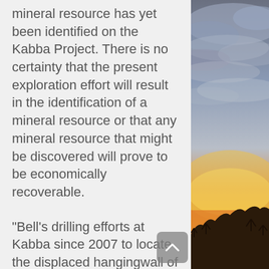mineral resource has yet been identified on the Kabba Project. There is no certainty that the present exploration effort will result in the identification of a mineral resource or that any mineral resource that might be discovered will prove to be economically recoverable.
"Bell's drilling efforts at Kabba since 2007 to locate the displaced hangingwall of this large porphyry system have reached a crucial point. We went looking for a giant and we now think that we have it in a box. Hole K-11 will tell us whether the geologic processes that produced the encouraging mineralization and
[Figure (photo): Sunset landscape photo showing a sky with orange and gold colours near the horizon, silhouettes of trees and hills at the bottom, with dramatic clouds above. Positioned on the right side of the page.]